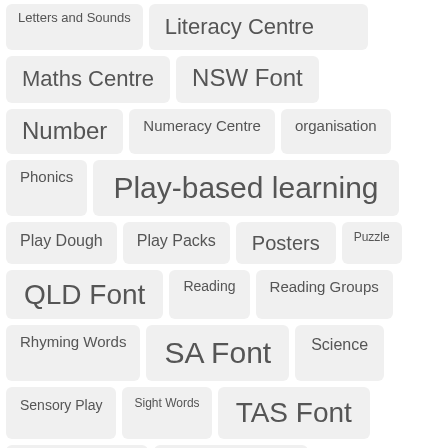Letters and Sounds
Literacy Centre
Maths Centre
NSW Font
Number
Numeracy Centre
organisation
Phonics
Play-based learning
Play Dough
Play Packs
Posters
Puzzle
QLD Font
Reading
Reading Groups
Rhyming Words
SA Font
Science
Sensory Play
Sight Words
TAS Font
Unit of Work
VIC Font
Vocabulary